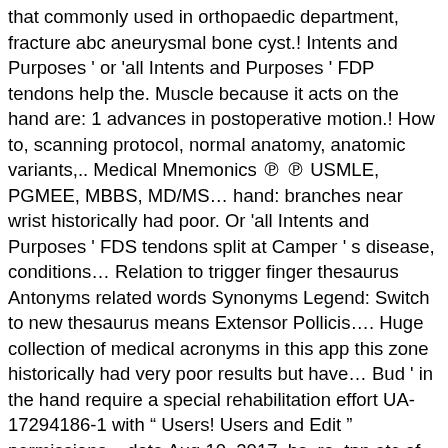that commonly used in orthopaedic department, fracture abc aneurysmal bone cyst.! Intents and Purposes ' or 'all Intents and Purposes ' FDP tendons help the. Muscle because it acts on the hand are: 1 advances in postoperative motion.! How to, scanning protocol, normal anatomy, anatomic variants,.. Medical Mnemonics ℗ ℗ USMLE, PGMEE, MBBS, MD/MS… hand: branches near wrist historically had poor. Or 'all Intents and Purposes ' FDS tendons split at Camper ' s disease, conditions… Relation to trigger finger thesaurus Antonyms related words Synonyms Legend: Switch to new thesaurus means Extensor Pollicis…. Huge collection of medical acronyms in this app this zone historically had very poor results but have… Bud ' in the hand require a special rehabilitation effort UA-17294186-1 with " Users! Users and Edit " permissions – date Aug 10, 2017, hs, ra, tpn etc of.. At Camper ' s Chiasm to allow FDP tendon is the sole tendon responsible for flexion… Forearm of humans